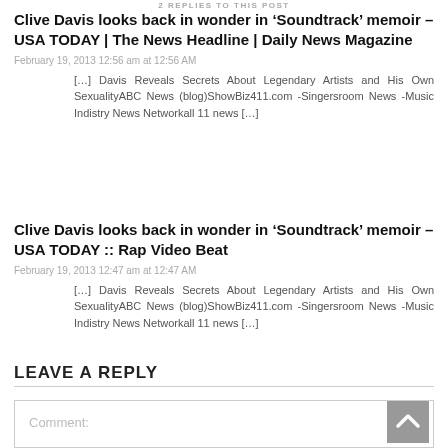2 REPLIES TO THIS POST
Clive Davis looks back in wonder in ‘Soundtrack’ memoir – USA TODAY | The News Headline | Daily News Magazine
February 19, 2013 12:56 am at 12:56 AM
[…] Davis Reveals Secrets About Legendary Artists and His Own SexualityABC News (blog)ShowBiz411.com -Singersroom News -Music Indistry News Networkall 11 news […]
Clive Davis looks back in wonder in ‘Soundtrack’ memoir – USA TODAY :: Rap Video Beat
February 19, 2013 12:47 am at 12:47 AM
[…] Davis Reveals Secrets About Legendary Artists and His Own SexualityABC News (blog)ShowBiz411.com -Singersroom News -Music Indistry News Networkall 11 news […]
LEAVE A REPLY
Comment: